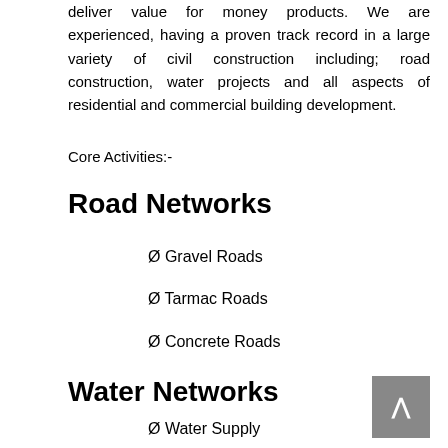deliver value for money products. We are experienced, having a proven track record in a large variety of civil construction including; road construction, water projects and all aspects of residential and commercial building development.
Core Activities:-
Road Networks
Ø Gravel Roads
Ø Tarmac Roads
Ø Concrete Roads
Water Networks
Ø Water Supply